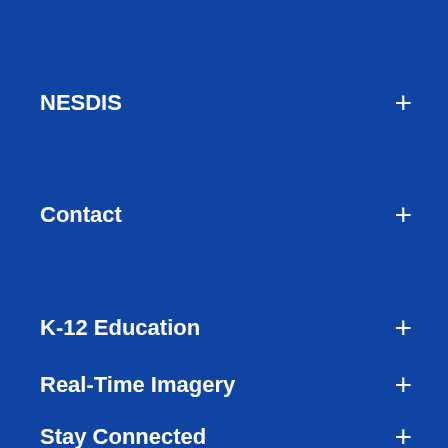NESDIS
Contact
K-12 Education
Real-Time Imagery
Stay Connected